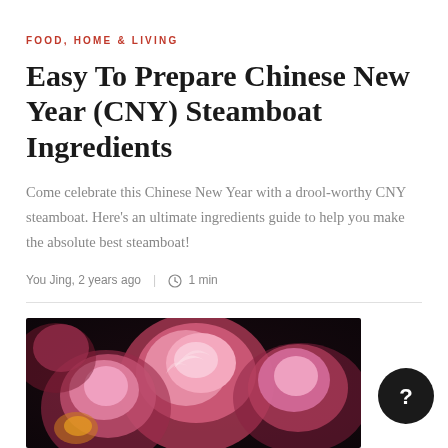FOOD, HOME & LIVING
Easy To Prepare Chinese New Year (CNY) Steamboat Ingredients
Come celebrate this Chinese New Year with a drool-worthy CNY steamboat. Here's an ultimate ingredients guide to help you make the absolute best steamboat!
You Jing, 2 years ago  |  1 min
[Figure (photo): Close-up photo of pink peony flowers on a dark background]
[Figure (illustration): Chat bubble icon with a question mark, dark circular button]